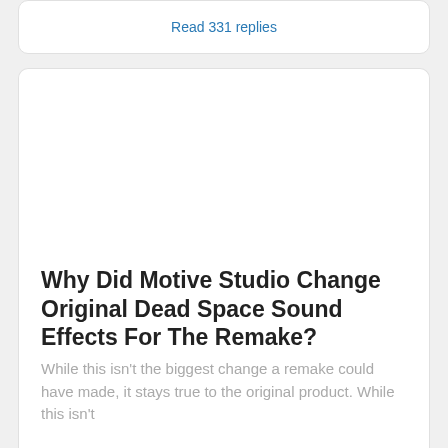Read 331 replies
Why Did Motive Studio Change Original Dead Space Sound Effects For The Remake?
While this isn't the biggest change a remake could have made, it stays true to the original product. While this isn't